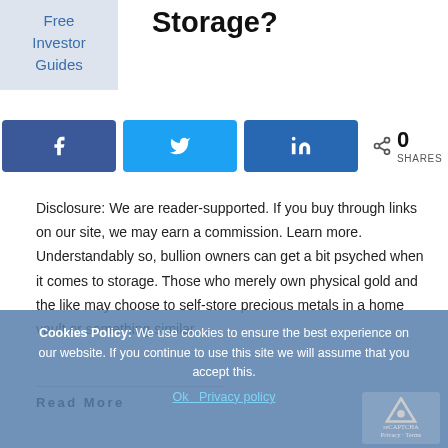[Figure (other): Free Investor Guides label box in light blue-grey]
Storage?
[Figure (other): Social share buttons: Facebook, Twitter, LinkedIn, and share count showing 0 SHARES]
Disclosure: We are reader-supported. If you buy through links on our site, we may earn a commission. Learn more. Understandably so, bullion owners can get a bit psyched when it comes to storage. Those who merely own physical gold and the like may choose to self-store precious metals in a home vault or something similar. ...
Read More
Cookies Policy: We use cookies to ensure the best experience on our website. If you continue to use this site we will assume that you accept this.
Ok Privacy policy